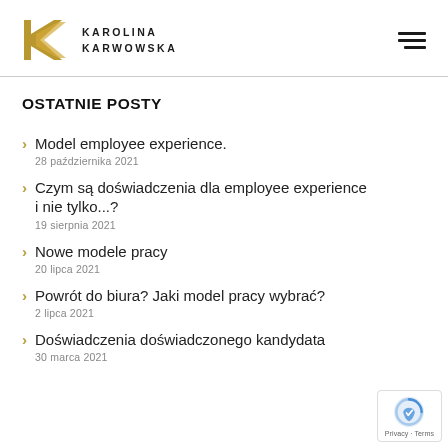KAROLINA KARWOWSKA
OSTATNIE POSTY
Model employee experience. | 28 października 2021
Czym są doświadczenia dla employee experience i nie tylko...? | 19 sierpnia 2021
Nowe modele pracy | 20 lipca 2021
Powrót do biura? Jaki model pracy wybrać? | 2 lipca 2021
Doświadczenia doświadczonego kandydata | 30 marca 2021